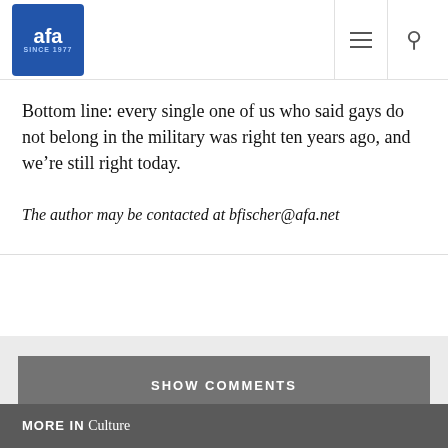AFA SINCE 1977
Bottom line: every single one of us who said gays do not belong in the military was right ten years ago, and we're still right today.
The author may be contacted at bfischer@afa.net
SHOW COMMENTS
MORE IN Culture